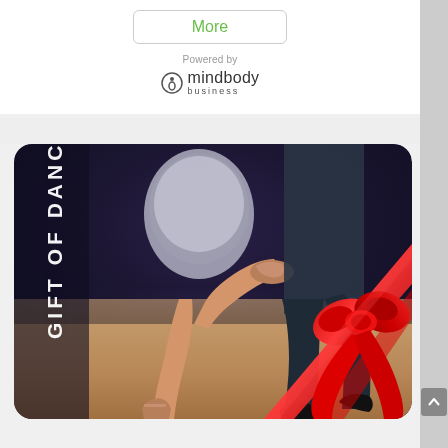More
[Figure (logo): Powered by mindbody business logo with circle icon]
[Figure (photo): Gift of Dance gift card showing two ballroom dancers (legs visible) with a red ribbon bow in the bottom right corner, dark blue background at top fading to warm tan dance floor at bottom, white vertical text reading GIFT OF DANCE on the left side]